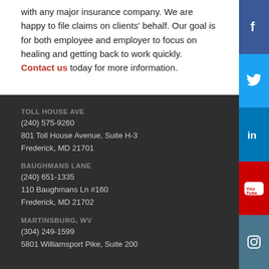with any major insurance company. We are happy to file claims on clients' behalf. Our goal is for both employee and employer to focus on healing and getting back to work quickly. Contact us today for more information.
TOLL HOUSE AVE
(240) 575-9260
801 Toll House Avenue, Suite H-3
Frederick, MD 21701
BAUGHMANS LANE
(240) 651-1335
110 Baughmans Ln #160
Frederick, MD 21702
MARTINSBURG, WV
(304) 249-1599
5801 Williamsport Pike, Suite 200
[Figure (infographic): Social media icons column on right side: Facebook (blue), Twitter (cyan), LinkedIn (blue), YouTube (red), Instagram (steel blue)]